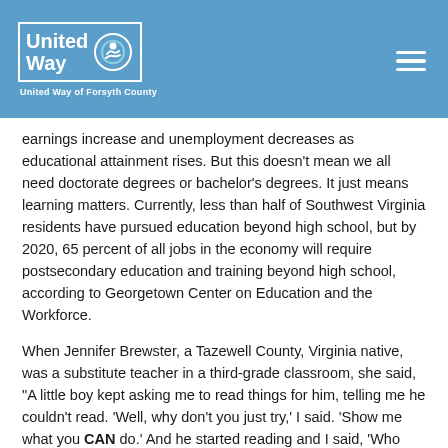United Way of Forsyth County
earnings increase and unemployment decreases as educational attainment rises. But this doesn't mean we all need doctorate degrees or bachelor's degrees. It just means learning matters. Currently, less than half of Southwest Virginia residents have pursued education beyond high school, but by 2020, 65 percent of all jobs in the economy will require postsecondary education and training beyond high school, according to Georgetown Center on Education and the Workforce.
When Jennifer Brewster, a Tazewell County, Virginia native, was a substitute teacher in a third-grade classroom, she said, "A little boy kept asking me to read things for him, telling me he couldn't read. 'Well, why don't you just try,' I said. 'Show me what you CAN do.' And he started reading and I said, 'Who told you that you can't read? Because you can read beautifully.' He said, 'My teacher told me I can't read.'"